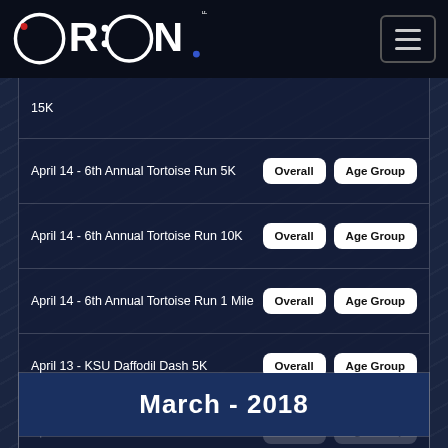[Figure (logo): Orion Racing logo — white circular/letter mark on dark background]
| Event | Overall | Age Group |
| --- | --- | --- |
| 15K |  |  |
| April 14 - 6th Annual Tortoise Run 5K | Overall | Age Group |
| April 14 - 6th Annual Tortoise Run 10K | Overall | Age Group |
| April 14 - 6th Annual Tortoise Run 1 Mile | Overall | Age Group |
| April 13 - KSU Daffodil Dash 5K | Overall | Age Group |
| April 7 - Run for the Homeless 5K | Overall | Age Group |
| April 7 - Run for the Homeless 1 Mile | Overall | Age Group |
March - 2018
| Event | Overall | Age Group |
| --- | --- | --- |
| March 31 - Topgolf  5K | Overall | Age Group |
| March 25 - Daffodil Dash 5K | Overall | Age Group |
| March 24 - Gwinnett Life Run 5K | Overall | Age Group |